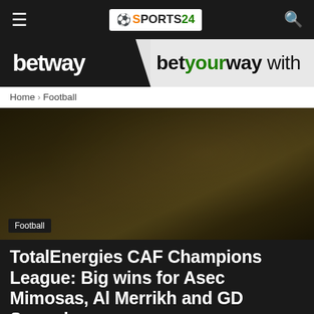Sports24 — navigation bar with hamburger menu, logo, and search icon
[Figure (illustration): Betway advertisement banner: black left panel with 'betway' in white bold text, grey right panel with 'betyourway with' text]
Home › Football
[Figure (photo): Dark background image of a crowd of football fans, with a 'Football' category tag overlay in bottom-left]
TotalEnergies CAF Champions League: Big wins for Asec Mimosas, Al Merrikh and GD Sagrada
By: Sports24 · October 17, 2021 · 👁 252 · 💬 0